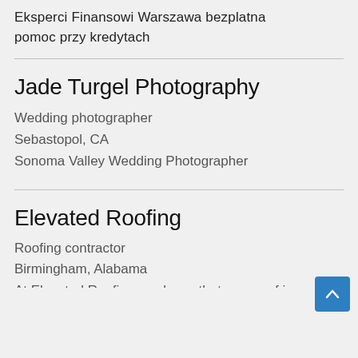Eksperci Finansowi Warszawa bezplatna pomoc przy kredytach
Jade Turgel Photography
Wedding photographer
Sebastopol, CA
Sonoma Valley Wedding Photographer
Elevated Roofing
Roofing contractor
Birmingham, Alabama
At Elevated Roofing, we know that your roof is one of the most important elements of your property